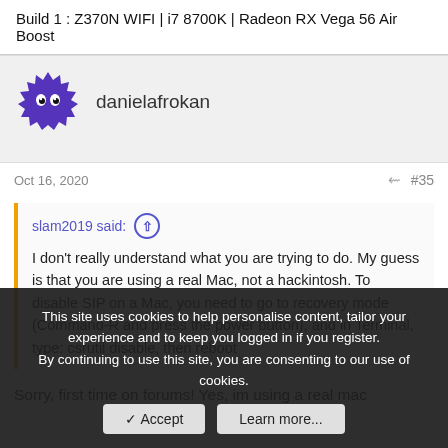Build 1 :  Z370N WIFI |  i7 8700K |  Radeon RX Vega 56 Air Boost
danielafrokan
Oct 16, 2020
#35
slam2019 said: I don't really understand what you are trying to do. My guess is that you are using a real Mac, not a hackintosh. To disable SIP on a Mac, you need to go to recovery mode (Command-R and press the power button), and in Terminal, type: csrutil disable, then reboot
Sorry, first time on forums! Yes, im using a real mac
This site uses cookies to help personalise content, tailor your experience and to keep you logged in if you register.
By continuing to use this site, you are consenting to our use of cookies.
Accept
Learn more...